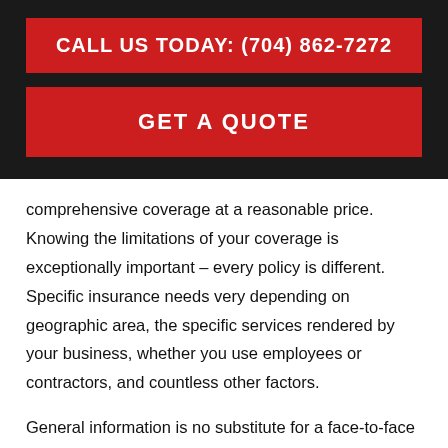CALL US TODAY: (704) 862-7272
GET A QUOTE
comprehensive coverage at a reasonable price. Knowing the limitations of your coverage is exceptionally important – every policy is different. Specific insurance needs very depending on geographic area, the specific services rendered by your business, whether you use employees or contractors, and countless other factors.
General information is no substitute for a face-to-face conversation with an insurance agent...